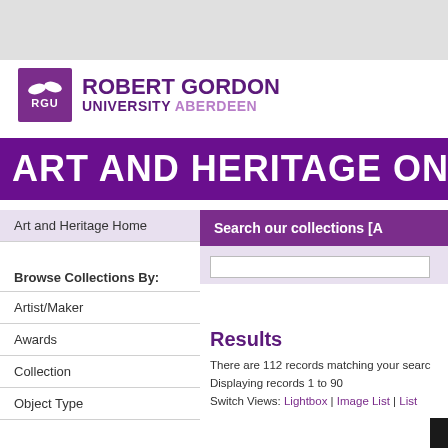[Figure (logo): Robert Gordon University Aberdeen logo with purple RGU box and wordmark]
ART AND HERITAGE ONLINE
Art and Heritage Home
Browse Collections By:
Artist/Maker
Awards
Collection
Object Type
Search the Collections
History of the Collections
Current Exhibitions
Search our collections [A
Results
There are 112 records matching your search.
Displaying records 1 to 90
Switch Views: Lightbox | Image List | List